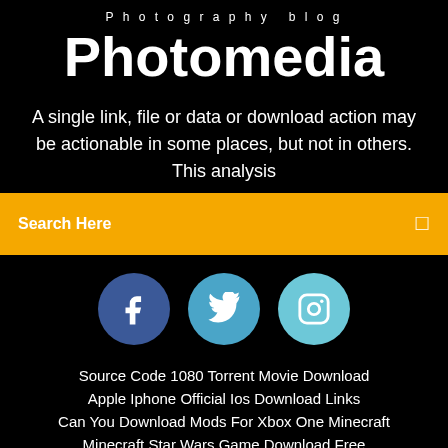Photography blog
Photomedia
A single link, file or data or download action may be actionable in some places, but not in others. This analysis
Search Here
[Figure (illustration): Three social media icon circles: Facebook (dark blue), Twitter (medium blue), Instagram (light blue/teal), each with white icons on black background]
Source Code 1080 Torrent Movie Download
Apple Iphone Official Ios Download Links
Can You Download Mods For Xbox One Minecraft
Minecraft Star Wars Game Download Free